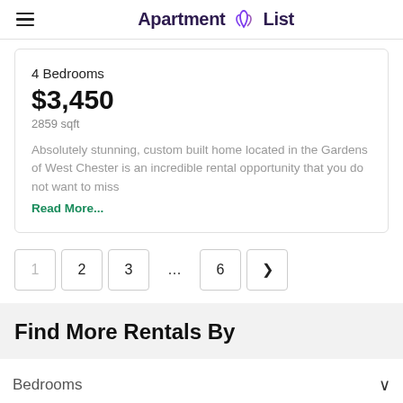Apartment List
4 Bedrooms
$3,450
2859 sqft
Absolutely stunning, custom built home located in the Gardens of West Chester is an incredible rental opportunity that you do not want to miss
Read More...
1  2  3  ...  6  >
Find More Rentals By
Bedrooms
Amenities